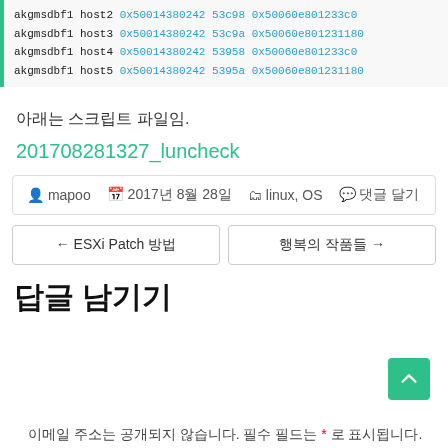[Figure (screenshot): Code block showing terminal output with akgmsdbf1 host2-5 entries and hex addresses in cyan on light gray background with green left border]
아래는 스크립트 파일임.
201708281327_luncheck
| mapoo | 2017년 8월 28일 | linux, OS | 댓글 달기 |
← ESXi Patch 방법
행복의 작품들 →
답글 남기기
이메일 주소는 공개되지 않습니다. 필수 필드는 * 로 표시됩니다.